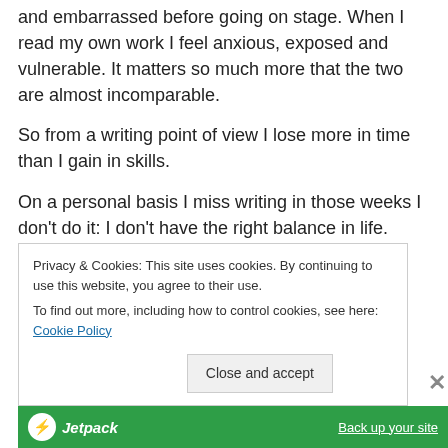and embarrassed before going on stage. When I read my own work I feel anxious, exposed and vulnerable.  It matters so much more that the two are almost incomparable.
So from a writing point of view I lose more in time than I gain in skills.
On a personal basis I miss writing in those weeks I don't do it: I don't have the right balance in life.  Acting feeds my need to be creative but not my need to develop and explore my own ideas.  It doesn't fulfil me or challenge me
Privacy & Cookies: This site uses cookies. By continuing to use this website, you agree to their use.
To find out more, including how to control cookies, see here: Cookie Policy
[Figure (logo): Jetpack logo and 'Back up your site' link on green bar]